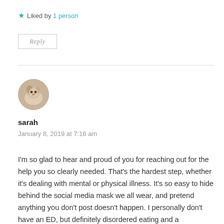★ Liked by 1 person
Reply
[Figure (photo): Circular avatar image of a light-colored dog or small animal]
sarah
January 8, 2019 at 7:16 am
I'm so glad to hear and proud of you for reaching out for the help you so clearly needed. That's the hardest step, whether it's dealing with mental or physical illness. It's so easy to hide behind the social media mask we all wear, and pretend anything you don't post doesn't happen. I personally don't have an ED, but definitely disordered eating and a